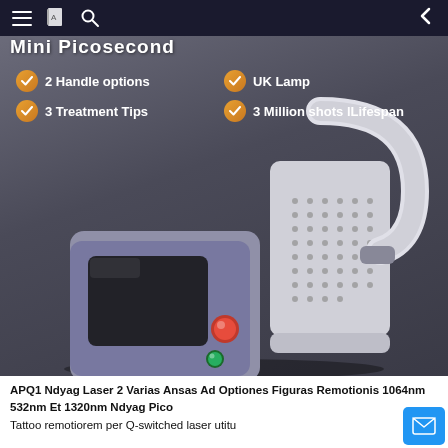Mini Picosecond
2 Handle options
3 Treatment Tips
UK Lamp
3 Million shots lLifespan
[Figure (photo): Photo of a laser device machine (Ndyag Laser) with a purple/grey body, black screen, red and green buttons, white handle/arm attachment with ventilation holes, on a dark grey background.]
APQ1 Ndyag Laser 2 Varias Ansas Ad Optiones Figuras Remotionis 1064nm 532nm Et 1320nm Ndyag Pico
Tattoo remotiorem per Q-switched laser utitu